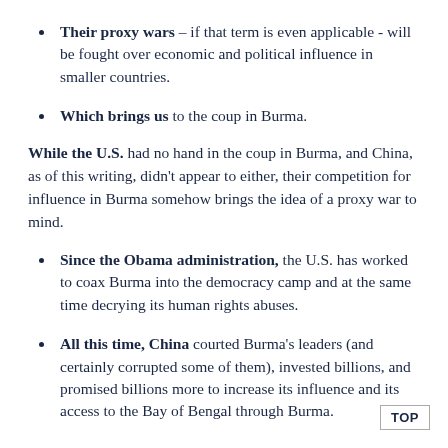Their proxy wars – if that term is even applicable - will be fought over economic and political influence in smaller countries.
Which brings us to the coup in Burma.
While the U.S. had no hand in the coup in Burma, and China, as of this writing, didn't appear to either, their competition for influence in Burma somehow brings the idea of a proxy war to mind.
Since the Obama administration, the U.S. has worked to coax Burma into the democracy camp and at the same time decrying its human rights abuses.
All this time, China courted Burma's leaders (and certainly corrupted some of them), invested billions, and promised billions more to increase its influence and its access to the Bay of Bengal through Burma.